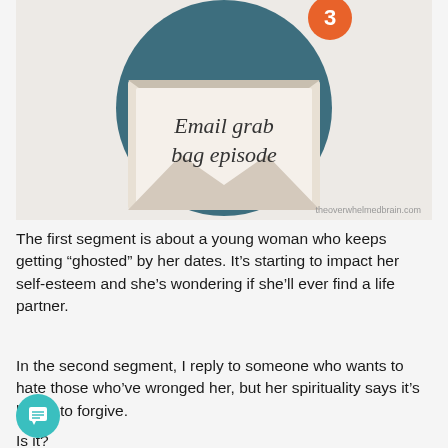[Figure (illustration): Podcast episode artwork showing an envelope with letter inside, set against a dark teal circle background. Text on the envelope reads 'Email grab bag episode' in handwritten style. An orange circle badge with number '3' appears at top right. Website watermark 'theoverwhelmedbrain.com' appears at bottom right.]
The first segment is about a young woman who keeps getting “ghostted” by her dates. It’s starting to impact her self-esteem and she’s wondering if she’ll ever find a life partner.
In the second segment, I reply to someone who wants to hate those who’ve wronged her, but her spirituality says it’s better to forgive.
Is it?